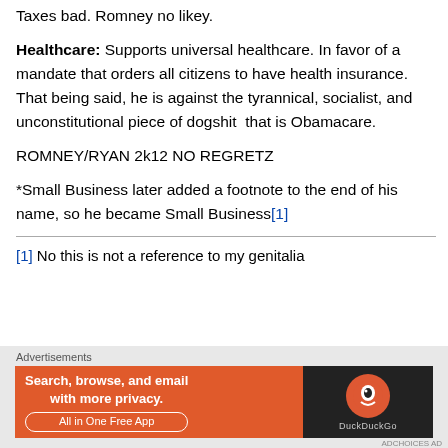Taxes bad. Romney no likey.
Healthcare: Supports universal healthcare. In favor of a mandate that orders all citizens to have health insurance. That being said, he is against the tyrannical, socialist, and unconstitutional piece of dogshit  that is Obamacare.
ROMNEY/RYAN 2k12 NO REGRETZ
*Small Business later added a footnote to the end of his name, so he became Small Business[1]
[1] No this is not a reference to my genitalia
[Figure (infographic): DuckDuckGo advertisement banner: orange background with text 'Search, browse, and email with more privacy. All in One Free App' and DuckDuckGo logo on dark background]